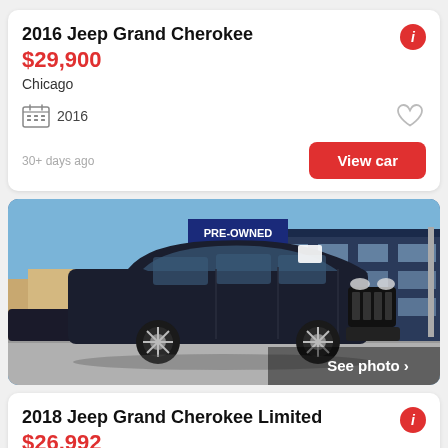2016 Jeep Grand Cherokee
$29,900
Chicago
2016
30+ days ago
View car
[Figure (photo): Photo of a dark blue/black Jeep Grand Cherokee parked in front of a Pre-Owned dealership building on a sunny day. Overlay text reads 'See photo >' in the bottom right corner.]
2018 Jeep Grand Cherokee Limited
$26,992